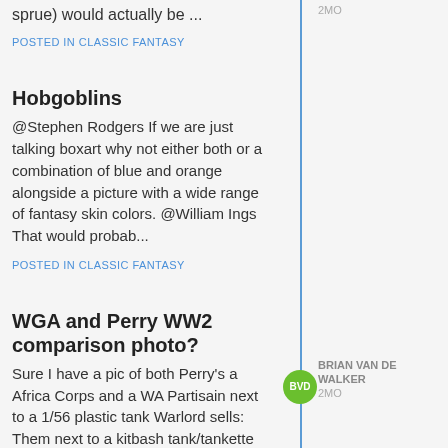2MO
sprue) would actually be ...
POSTED IN CLASSIC FANTASY
Hobgoblins
@Stephen Rodgers If we are just talking boxart why not either both or a combination of blue and orange alongside a picture with a wide range of fantasy skin colors. @William Ings That would probab...
POSTED IN CLASSIC FANTASY
[Figure (illustration): Green circular avatar with initials BVD]
BRIAN VAN DE WALKER
2MO
WGA and Perry WW2 comparison photo?
Sure I have a pic of both Perry's a Africa Corps and a WA Partisain next to a 1/56 plastic tank Warlord sells: Them next to a kitbash tank/tankette (Warlord's plastic Universal carrier is the ba...
POSTED IN WORLD ABLAZE: THE SECOND WORLD WAR 1939-1945
[Figure (illustration): Green circular avatar with initials BVD]
BRIAN VAN DE WALKER
2MO
New Friday Poll - Ultra Moderne/Near